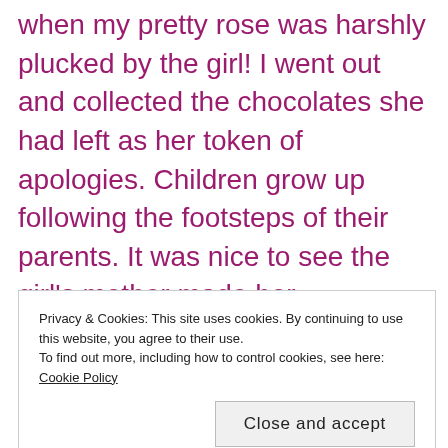when my pretty rose was harshly plucked by the girl! I went out and collected the chocolates she had left as her token of apologies. Children grow up following the footsteps of their parents. It was nice to see the girl's mother made her understand the mistake. But, what was thrilling to note is the fact that the child came up with her own sweet little way of saying sorry! 🙂
Privacy & Cookies: This site uses cookies. By continuing to use this website, you agree to their use. To find out more, including how to control cookies, see here: Cookie Policy
onto things, instead I look for positive side of